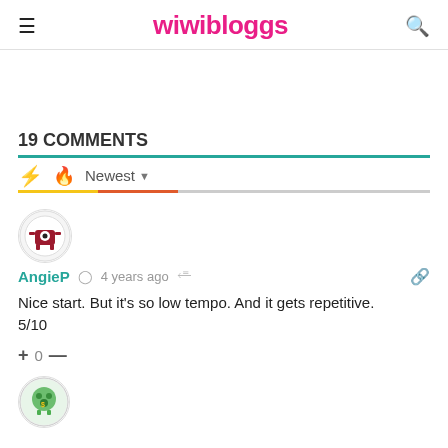wiwibloggs
19 COMMENTS
Newest
[Figure (illustration): Circular avatar icon for user AngieP showing a cartoon monster/creature in red with a white eye]
AngieP  4 years ago
Nice start. But it's so low tempo. And it gets repetitive.
5/10
+ 0 —
[Figure (illustration): Circular avatar icon for second commenter showing a cartoon green creature/robot]